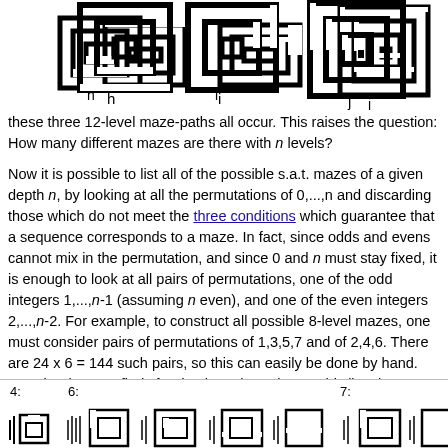[Figure (illustration): Three maze-path diagrams labeled h, i, and j showing 12-level maze-paths with nested rectangular spiral patterns of increasing complexity.]
these three 12-level maze-paths all occur. This raises the question: How many different mazes are there with n levels?
Now it is possible to list all of the possible s.a.t. mazes of a given depth n, by looking at all the permutations of 0,...,n and discarding those which do not meet the three conditions which guarantee that a sequence corresponds to a maze. In fact, since odds and evens cannot mix in the permutation, and since 0 and n must stay fixed, it is enough to look at all pairs of permutations, one of the odd integers 1,...,n-1 (assuming n even), and one of the even integers 2,...,n-2. For example, to construct all possible 8-level mazes, one must consider pairs of permutations of 1,3,5,7 and of 2,4,6. There are 24 x 6 = 144 such pairs, so this can easily be done by hand. Here is what one finds for depths 1 through 8. In this list, the non-"interesting" mazes (those can be constructed from shallower mazes by adding trivial levels at the top and/or bottom) have been omitted. This figure shows the nuclei and rectangular mazepaths of these mazes; only one representative of each dual pair is drawn.
[Figure (illustration): Bottom strip showing maze diagrams for depths 4, 6, and 7 with small nuclei and rectangular maze-path drawings, partially cut off at the page edge.]